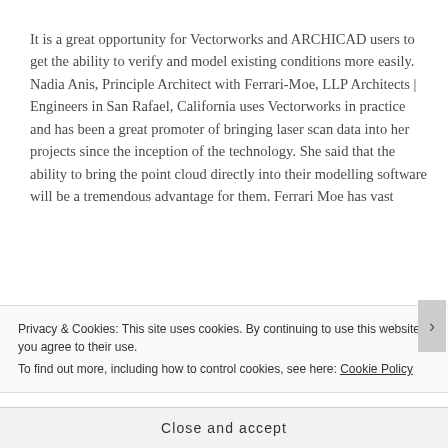It is a great opportunity for Vectorworks and ARCHICAD users to get the ability to verify and model existing conditions more easily. Nadia Anis, Principle Architect with Ferrari-Moe, LLP Architects | Engineers in San Rafael, California uses Vectorworks in practice and has been a great promoter of bringing laser scan data into her projects since the inception of the technology. She said that the ability to bring the point cloud directly into their modelling software will be a tremendous advantage for them. Ferrari Moe has vast
Privacy & Cookies: This site uses cookies. By continuing to use this website, you agree to their use.
To find out more, including how to control cookies, see here: Cookie Policy
Close and accept